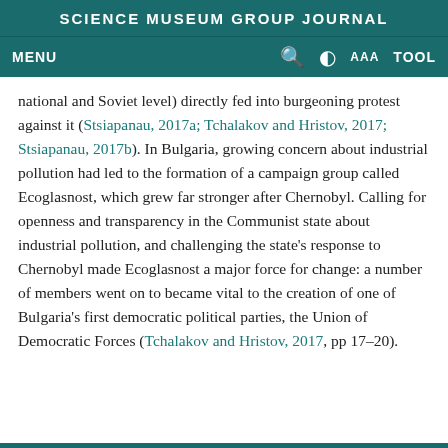SCIENCE MUSEUM GROUP JOURNAL
MENU  🔍  ◑  AAA  TOOL
national and Soviet level) directly fed into burgeoning protest against it (Stsiapanau, 2017a; Tchalakov and Hristov, 2017; Stsiapanau, 2017b). In Bulgaria, growing concern about industrial pollution had led to the formation of a campaign group called Ecoglasnost, which grew far stronger after Chernobyl. Calling for openness and transparency in the Communist state about industrial pollution, and challenging the state's response to Chernobyl made Ecoglasnost a major force for change: a number of members went on to became vital to the creation of one of Bulgaria's first democratic political parties, the Union of Democratic Forces (Tchalakov and Hristov, 2017, pp 17–20).